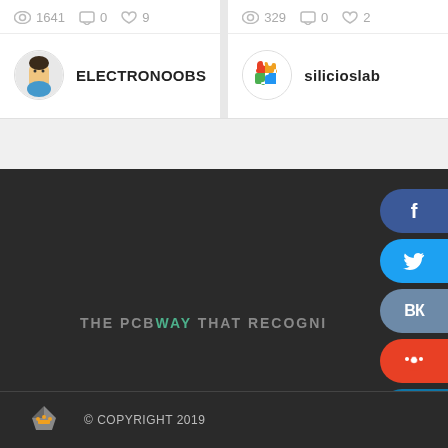1641  0  9
[Figure (screenshot): User avatar for ELECTRONOOBS - circular avatar with cartoon face]
ELECTRONOOBS
329  0  2
[Figure (logo): silicioslab puzzle piece logo - colorful circular icon]
silicioslab
[Figure (screenshot): Social media share buttons on right side: Facebook (f), Twitter (bird), VK, Reddit, LinkedIn (in)]
THE PCB WAY THAT RECOGNI...
© COPYRIGHT 2019